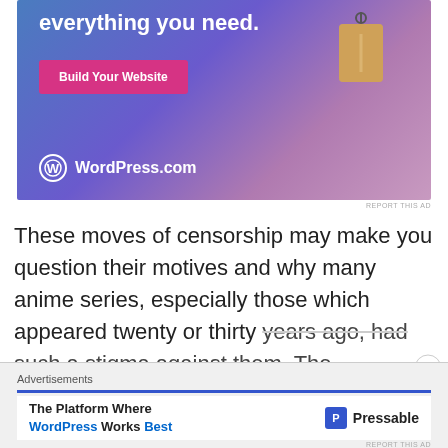[Figure (screenshot): WordPress.com advertisement banner with blue-purple gradient background, 'everything you need.' text, 'Build Your Website' pink button, a price tag illustration, and WordPress.com logo]
REPORT THIS AD
These moves of censorship may make you question their motives and why many anime series, especially those which appeared twenty or thirty years ago, had such a stigma against them. The
[Figure (screenshot): Bottom advertisement bar showing 'Advertisements' label, blue divider, white ad with 'The Platform Where WordPress Works Best' text and Pressable logo, with close button]